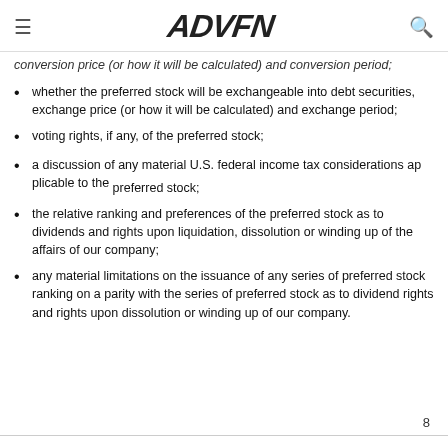ADVFN
conversion price (or how it will be calculated) and conversion period;
whether the preferred stock will be exchangeable into debt securities, exchange price (or how it will be calculated) and exchange period;
voting rights, if any, of the preferred stock;
a discussion of any material U.S. federal income tax considerations applicable to the preferred stock;
the relative ranking and preferences of the preferred stock as to dividends and rights upon liquidation, dissolution or winding up of the affairs of our company;
any material limitations on the issuance of any series of preferred stock ranking on a parity with the series of preferred stock as to dividend rights and rights upon dissolution or winding up of our company.
8